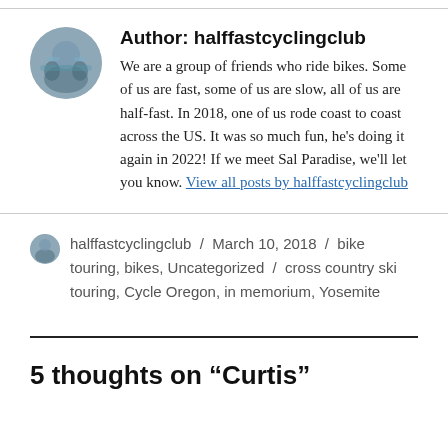Author: halffastcyclingclub
We are a group of friends who ride bikes. Some of us are fast, some of us are slow, all of us are half-fast. In 2018, one of us rode coast to coast across the US. It was so much fun, he's doing it again in 2022! If we meet Sal Paradise, we'll let you know. View all posts by halffastcyclingclub
halffastcyclingclub / March 10, 2018 / bike touring, bikes, Uncategorized / cross country ski touring, Cycle Oregon, in memorium, Yosemite
5 thoughts on “Curtis”